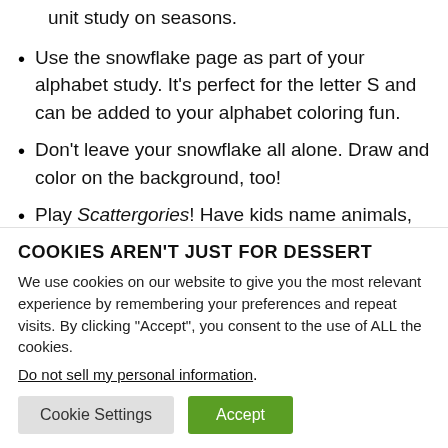unit study on seasons.
Use the snowflake page as part of your alphabet study. It’s perfect for the letter S and can be added to your alphabet coloring fun.
Don’t leave your snowflake all alone. Draw and color on the background, too!
Play Scattergories! Have kids name animals, things, colors, trees, etc. that are related to
COOKIES AREN’T JUST FOR DESSERT
We use cookies on our website to give you the most relevant experience by remembering your preferences and repeat visits. By clicking “Accept”, you consent to the use of ALL the cookies.
Do not sell my personal information.